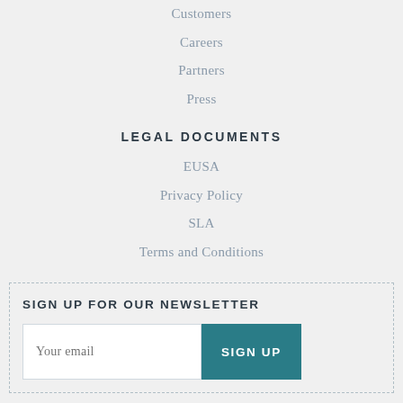Customers
Careers
Partners
Press
LEGAL DOCUMENTS
EUSA
Privacy Policy
SLA
Terms and Conditions
SIGN UP FOR OUR NEWSLETTER
Your email
SIGN UP